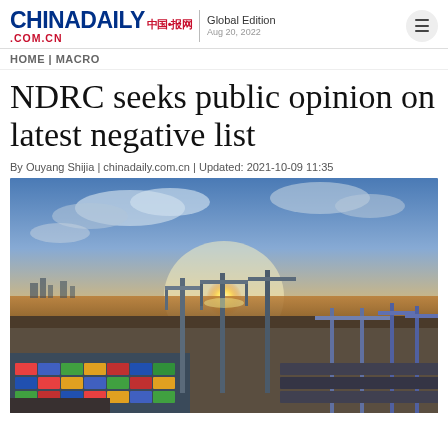CHINADAILY 中国日报网 .COM.CN | Global Edition | Aug 20, 2022
HOME | MACRO
NDRC seeks public opinion on latest negative list
By Ouyang Shijia | chinadaily.com.cn | Updated: 2021-10-09 11:35
[Figure (photo): Aerial view of a busy container port at sunset with large cranes and stacked shipping containers along the waterfront]